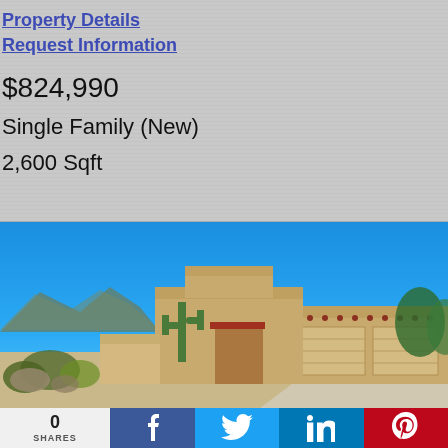Property Details
Request Information
$824,990
Single Family (New)
2,600 Sqft
[Figure (photo): Exterior photo of a Southwestern-style single family home with flat roof, stucco walls, two-car garage, desert landscaping including saguaro cactus, and mountains in the background under a clear blue sky.]
0 SHARES
Facebook share button
Twitter share button
LinkedIn share button
Pinterest share button